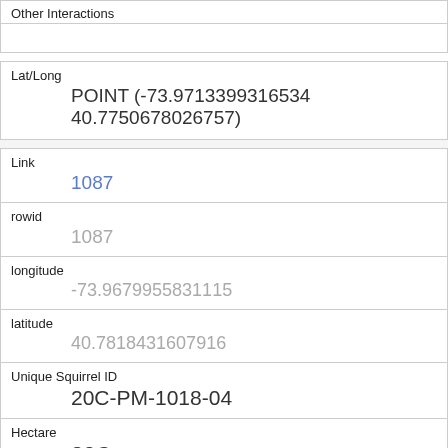Other Interactions
| Field | Value |
| --- | --- |
| Lat/Long | POINT (-73.9713399316534 40.7750678026757) |
| Link | 1087 |
| rowid | 1087 |
| longitude | -73.9679955831115 |
| latitude | 40.7818431607916 |
| Unique Squirrel ID | 20C-PM-1018-04 |
| Hectare | 20C |
| Shift | PM |
| Date | 10182018 |